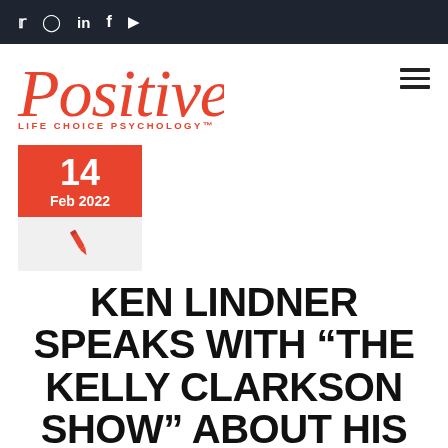Social media icons: Twitter, Instagram, LinkedIn, Facebook, YouTube
[Figure (logo): Positive Life Choice Psychology logo in red cursive script with tagline LIFE CHOICE PSYCHOLOGY™]
14 Feb 2022
[Figure (illustration): Pen/pencil icon in orange-red on light gray background]
KEN LINDNER SPEAKS WITH "THE KELLY CLARKSON SHOW" ABOUT HIS